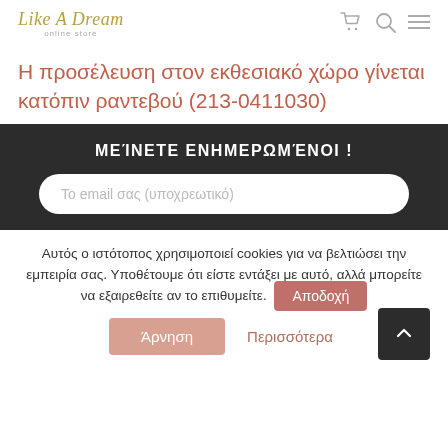Like A Dream online store
Η προσέλευση στον εκθεσιακό χώρο γίνεται κατόπιν ραντεβού (213-0411030)
Μείνετε ενημερωμένοι !
Το email σας (υποχρεωτικό)
Αυτός ο ιστότοπος χρησιμοποιεί cookies για να βελτιώσει την εμπειρία σας. Υποθέτουμε ότι είστε εντάξει με αυτό, αλλά μπορείτε να εξαιρεθείτε αν το επιθυμείτε.
Αποδοχή
Άρνηση
Περισσότερα